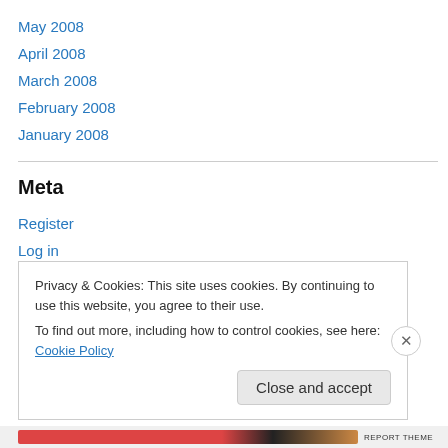May 2008
April 2008
March 2008
February 2008
January 2008
Meta
Register
Log in
Entries feed
Comments feed
Privacy & Cookies: This site uses cookies. By continuing to use this website, you agree to their use.
To find out more, including how to control cookies, see here: Cookie Policy